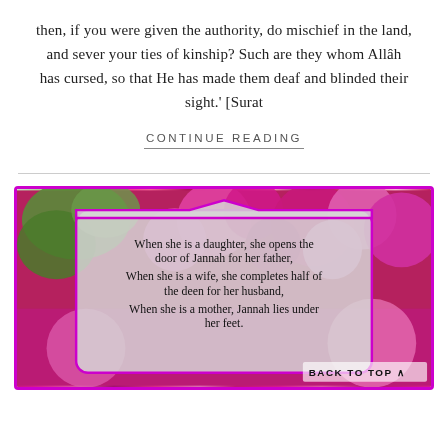then, if you were given the authority, do mischief in the land, and sever your ties of kinship? Such are they whom Allâh has cursed, so that He has made them deaf and blinded their sight.' [Surat
CONTINUE READING
[Figure (illustration): A decorative Islamic-style image with pink hydrangea flowers in the background and a semi-transparent overlay panel containing text about women (daughter, wife, mother). Text reads: 'When she is a daughter, she opens the door of Jannah for her father, When she is a wife, she completes half of the deen for her husband, When she is a mother, Jannah lies under her feet.' with a 'BACK TO TOP' button at the bottom right.]